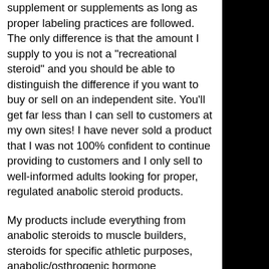supplement or supplements as long as proper labeling practices are followed. The only difference is that the amount I supply to you is not a "recreational steroid" and you should be able to distinguish the difference if you want to buy or sell on an independent site. You'll get far less than I can sell to customers at my own sites! I have never sold a product that I was not 100% confident to continue providing to customers and I only sell to well-informed adults looking for proper, regulated anabolic steroid products.
My products include everything from anabolic steroids to muscle builders, steroids for specific athletic purposes, anabolic/osthrogenic hormone supplementation, weight gainers for men and women, and a full range of bodybuilding supplements. All of these products are made at the highest quality levels possible and are sold at wholesale rates because I know your